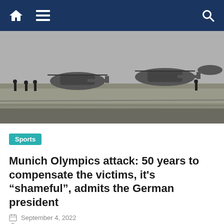Navigation bar with home, menu, and search icons
[Figure (photo): Black and white photograph of helicopters and people on a tarmac or airfield, related to the 1972 Munich Olympics attack.]
Sports
Munich Olympics attack: 50 years to compensate the victims, it’s “shameful”, admits the German president
September 4, 2022
admin
The German head of state, Frank-Walter Steinmeier, admitted on Sunday September 4 that he was “ ashamed ” that Germany took 50 years to reach an agreement to compensate the relatives of the Israeli victims of the bloody